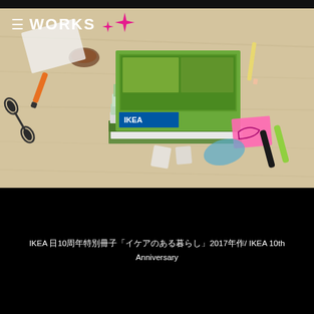≡ WORKS ✦✦
[Figure (photo): A wooden desk surface with a stack of IKEA catalogs in the center, surrounded by scissors, markers, sticky notes, paper cutouts of furniture and people, and pencils. The topmost catalog has a green cover.]
IKEA 日10周年特別冊子「イケアのある暮らし」2017年作/ IKEA 10th Anniversary